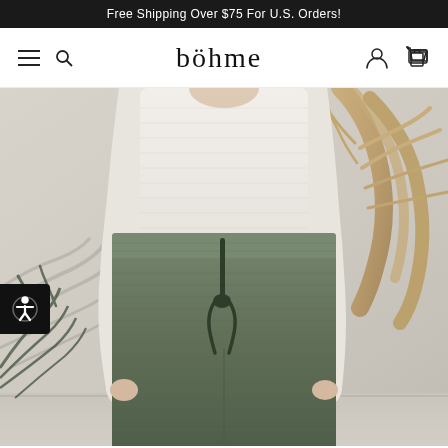Free Shipping Over $75 For U.S. Orders!
böhme
[Figure (photo): Model wearing olive green knit wide-leg pants with a drawstring waist and white long-sleeve ribbed top, photographed against a beige wall with dried palm fronds in background]